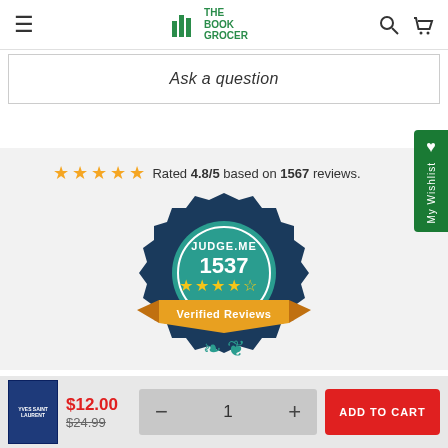The Book Grocer - navigation bar with hamburger menu, logo, search and cart icons
Ask a question
★★★★★ Rated 4.8/5 based on 1567 reviews.
[Figure (logo): Judge.me Verified Reviews badge with 1537 reviews and 4.5 star rating in a teal and navy emblem with golden banner and laurel wreath]
$12.00 $24.99
- 1 + ADD TO CART